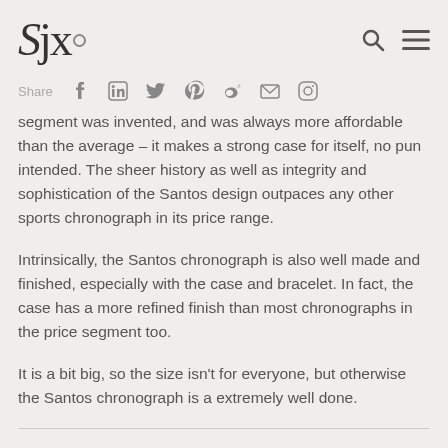SJX
Share
segment was invented, and was always more affordable than the average – it makes a strong case for itself, no pun intended. The sheer history as well as integrity and sophistication of the Santos design outpaces any other sports chronograph in its price range.
Intrinsically, the Santos chronograph is also well made and finished, especially with the case and bracelet. In fact, the case has a more refined finish than most chronographs in the price segment too.
It is a bit big, so the size isn't for everyone, but otherwise the Santos chronograph is a extremely well done.